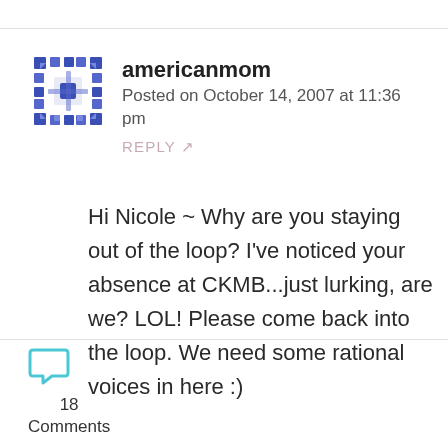americanmom
Posted on October 14, 2007 at 11:36 pm
REPLY ↗
Hi Nicole ~ Why are you staying out of the loop? I've noticed your absence at CKMB...just lurking, are we? LOL! Please come back into the loop. We need some rational voices in here :)
18 Comments